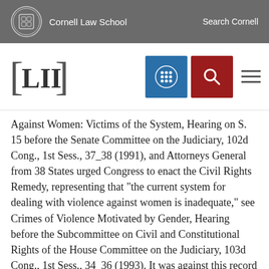Cornell Law School    Search Cornell
[Figure (logo): LII Legal Information Institute logo with navigation icons]
Against Women: Victims of the System, Hearing on S. 15 before the Senate Committee on the Judiciary, 102d Cong., 1st Sess., 37_38 (1991), and Attorneys General from 38 States urged Congress to enact the Civil Rights Remedy, representing that "the current system for dealing with violence against women is inadequate," see Crimes of Violence Motivated by Gender, Hearing before the Subcommittee on Civil and Constitutional Rights of the House Committee on the Judiciary, 103d Cong., 1st Sess., 34_36 (1993). It was against this record of failure at the state level that the Act was passed to provide the choice of a federal forum in place of the state-court systems for this is the text continues below